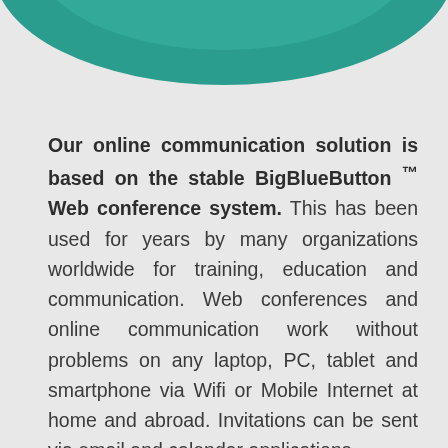[Figure (illustration): Teal/green circular decorative graphic element at the top of the page, partially cropped]
Our online communication solution is based on the stable BigBlueButton™ Web conference system. This has been used for years by many organizations worldwide for training, education and communication. Web conferences and online communication work without problems on any laptop, PC, tablet and smartphone via Wifi or Mobile Internet at home and abroad. Invitations can be sent via email and calendar applications